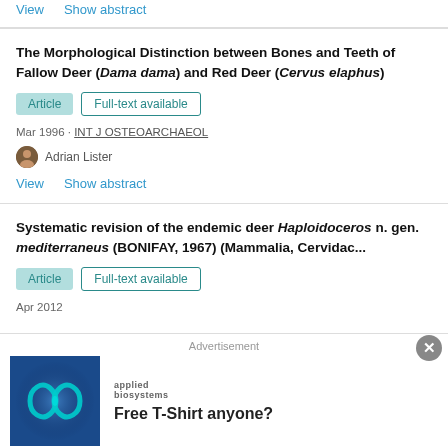View    Show abstract
The Morphological Distinction between Bones and Teeth of Fallow Deer (Dama dama) and Red Deer (Cervus elaphus)
Article   Full-text available
Mar 1996 · INT J OSTEOARCHAEOL
Adrian Lister
View    Show abstract
Systematic revision of the endemic deer Haploidoceros n. gen. mediterraneus (BONIFAY, 1967) (Mammalia, Cervidac...
Article   Full-text available
Apr 2012
Advertisement
[Figure (photo): Blue abstract infinity loop symbol advertisement image for Applied Biosystems]
applied biosystems
Free T-Shirt anyone?